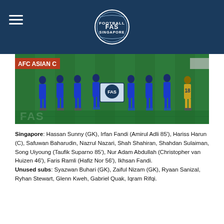FAS (Football Association of Singapore) header with logo
[Figure (photo): Singapore national football team players posing in blue kit for a team photo on a green pitch, with 'AFC' advertising board and FAS logo visible]
Singapore: Hassan Sunny (GK), Irfan Fandi (Amirul Adli 85'), Hariss Harun (C), Safuwan Baharudin, Nazrul Nazari, Shah Shahiran, Shahdan Sulaiman, Song Uiyoung (Taufik Suparno 85'), Nur Adam Abdullah (Christopher van Huizen 46'), Faris Ramli (Hafiz Nor 56'), Ikhsan Fandi.
Unused subs: Syazwan Buhari (GK), Zaiful Nizam (GK), Ryaan Sanizal, Ryhan Stewart, Glenn Kweh, Gabriel Quak, Iqram Rifqi.